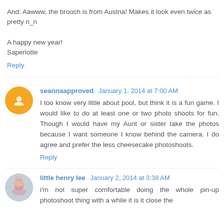And: Aawww, the brooch is from Austria! Makes it look even twice as pretty n_n

A happy new year!
Saperlotte
Reply
seannaapproved  January 1, 2014 at 7:00 AM
I too know very little about pool, but think it is a fun game. I would like to do at least one or two photo shoots for fun. Though I would have my Aunt or sister take the photos because I want someone I know behind the camera. I do agree and prefer the less cheesecake photoshoots.
Reply
little henry lee  January 2, 2014 at 3:38 AM
i'm not super comfortable doing the whole pin-up photoshoot thing with a while it is it close the